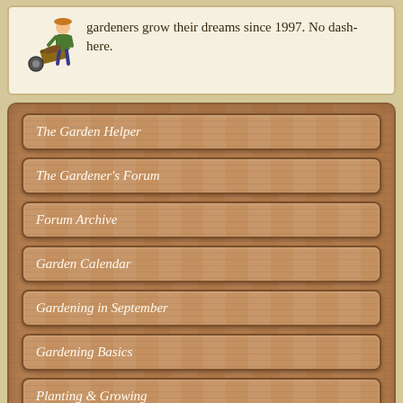gardeners grow their dreams since 1997. No dash-here.
The Garden Helper
The Gardener's Forum
Forum Archive
Garden Calendar
Gardening in September
Gardening Basics
Planting & Growing
Plants by Group
Garden Specific Plants